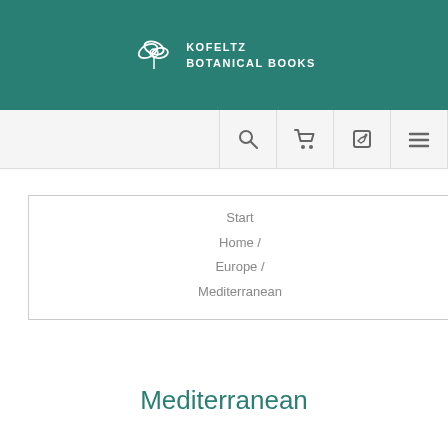[Figure (logo): Kofeltz Botanical Books logo with leaf/flower icon in white on teal background]
[Figure (screenshot): Navigation bar with search, cart, edit, and hamburger menu icons on light grey background]
Start
Home /
Europe /
Mediterranean
Mediterranean
Cookies help us deliver our services. By using our services, you agree to our use of cookies.
OK
LEARN MORE